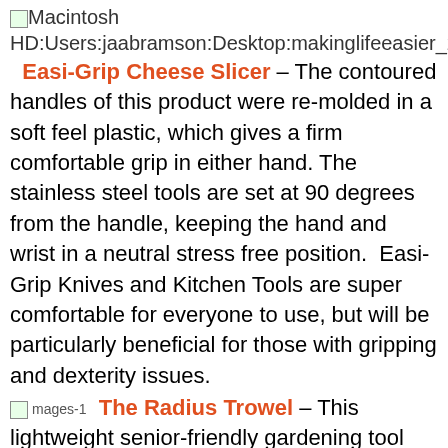Macintosh HD:Users:jaabramson:Desktop:makinglifeeasier_2264…
Easi-Grip Cheese Slicer – The contoured handles of this product were re-molded in a soft feel plastic, which gives a firm comfortable grip in either hand. The stainless steel tools are set at 90 degrees from the handle, keeping the hand and wrist in a neutral stress free position. Easi-Grip Knives and Kitchen Tools are super comfortable for everyone to use, but will be particularly beneficial for those with gripping and dexterity issues.
The Radius Trowel – This lightweight senior-friendly gardening tool features an innovative curved handle (called the Natural Radius Grip), making it user-friendly and comfortable even for people with arthritis of the joints in the hands. Intuitive and easy-to-use, this grip helps enable